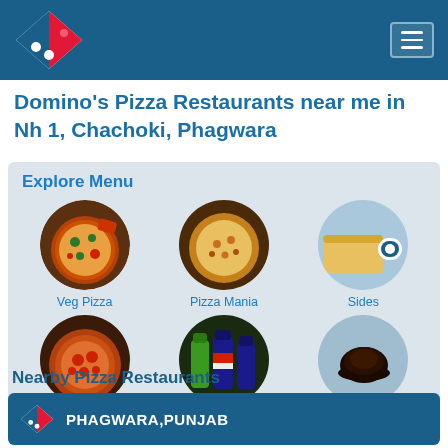[Figure (logo): Domino's Pizza logo with red and blue diamond and dots, white background stripe]
[Figure (other): Hamburger menu button in top-right corner]
Domino's Pizza Restaurants near me in Nh 1, Chachoki, Phagwara
Explore Menu
[Figure (photo): Round circular image of Veg Pizza]
Veg Pizza
[Figure (photo): Round circular image of Pizza Mania]
Pizza Mania
[Figure (photo): Round circular image of Sides (bread/garlic bread)]
Sides
[Figure (photo): Round circular image of Non-Veg Pizza]
Non-Veg Pizza
[Figure (photo): Round circular image of Beverages (soda bottles)]
Beverages
[Figure (photo): Round circular image of Desserts (chocolate lava cake)]
Desserts
Nearby Pizza Restaurants
PHAGWARA,PUNJAB